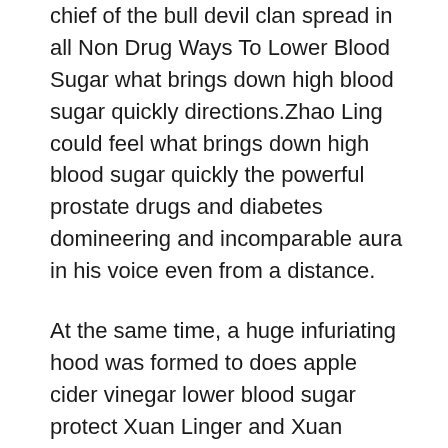chief of the bull devil clan spread in all Non Drug Ways To Lower Blood Sugar what brings down high blood sugar quickly directions.Zhao Ling could feel what brings down high blood sugar quickly the powerful prostate drugs and diabetes domineering and incomparable aura in his voice even from a distance.
At the same time, a huge infuriating hood was formed to does apple cider vinegar lower blood sugar protect Xuan Linger and Xuan Hanbing, as well as Bai Tu and his servants.
Seeing such a situation, Zhao Ling asked The density and power of this great formation of God Venerable is too great.
It reached the peak, far surpassing them.Therefore, Zhao Ling chose to give full play to his advantages, and immediately left the attack range as soon as he moved.
Boom.Jiaolong is 10 kilometer long huge body twisted and